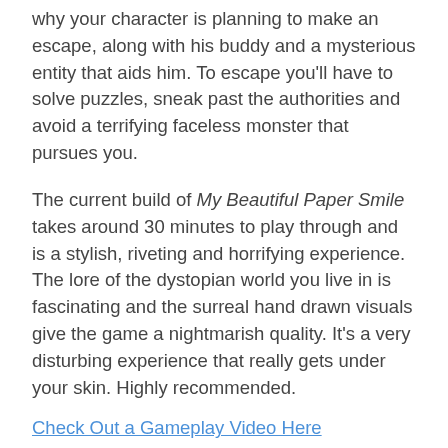why your character is planning to make an escape, along with his buddy and a mysterious entity that aids him. To escape you'll have to solve puzzles, sneak past the authorities and avoid a terrifying faceless monster that pursues you.
The current build of My Beautiful Paper Smile takes around 30 minutes to play through and is a stylish, riveting and horrifying experience. The lore of the dystopian world you live in is fascinating and the surreal hand drawn visuals give the game a nightmarish quality. It's a very disturbing experience that really gets under your skin. Highly recommended.
Check Out a Gameplay Video Here